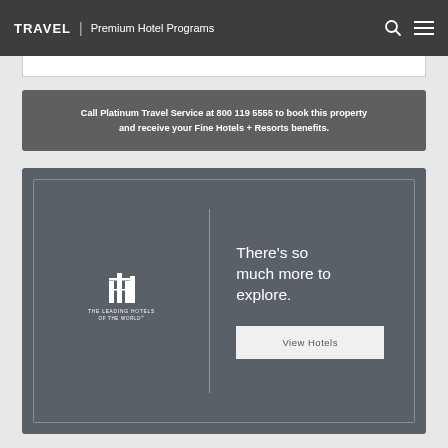TRAVEL | Premium Hotel Programs
Call Platinum Travel Service at 800 119 5555 to book this property and receive your Fine Hotels + Resorts benefits.
[Figure (logo): The Leading Hotels of the World logo with text below]
There’s so much more to explore.
View Hotels